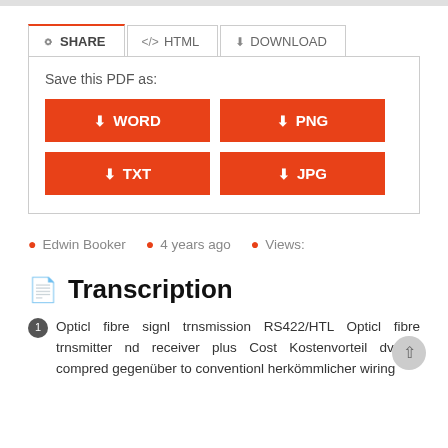[Figure (screenshot): Web UI with SHARE/HTML/DOWNLOAD tabs, Save PDF buttons (WORD, PNG, TXT, JPG), metadata row, and Transcription section]
Save this PDF as:
WORD
PNG
TXT
JPG
Edwin Booker   4 years ago   Views:
Transcription
Opticl fibre signl trnsmission RS422/HTL Opticl fibre trnsmitter nd receiver plus Cost Kostenvorteil dvntge compred gegenüber to conventionl herkömmlicher wiring